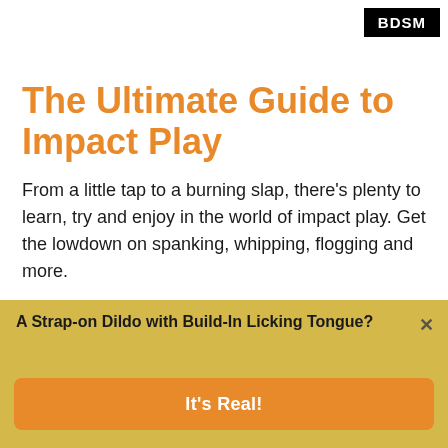BDSM
The Ultimate Guide to Impact Play
From a little tap to a burning slap, there's plenty to learn, try and enjoy in the world of impact play. Get the lowdown on spanking, whipping, flogging and more.
A Strap-on Dildo with Build-In Licking Tongue?
It's Real!